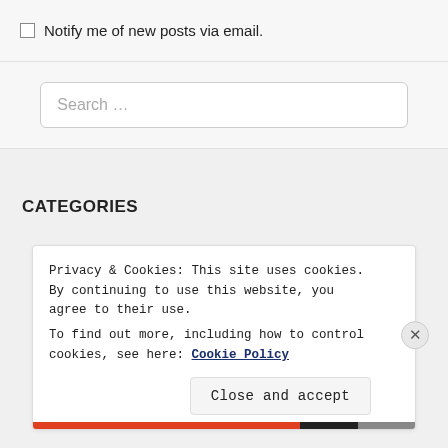Notify me of new posts via email.
Search ...
CATEGORIES
Privacy & Cookies: This site uses cookies. By continuing to use this website, you agree to their use.
To find out more, including how to control cookies, see here: Cookie Policy
Close and accept